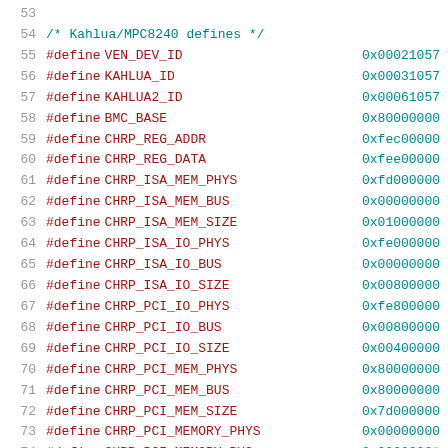53
54  /* Kahlua/MPC8240 defines */
55  #define VEN_DEV_ID   0x00021057
56  #define KAHLUA_ID    0x00031057
57  #define KAHLUA2_ID   0x00061057
58  #define BMC_BASE     0x80000000
59  #define CHRP_REG_ADDR   0xfec00000
60  #define CHRP_REG_DATA   0xfee00000
61  #define CHRP_ISA_MEM_PHYS   0xfd000000
62  #define CHRP_ISA_MEM_BUS    0x00000000
63  #define CHRP_ISA_MEM_SIZE   0x01000000
64  #define CHRP_ISA_IO_PHYS    0xfe000000
65  #define CHRP_ISA_IO_BUS     0x00000000
66  #define CHRP_ISA_IO_SIZE    0x00800000
67  #define CHRP_PCI_IO_PHYS    0xfe800000
68  #define CHRP_PCI_IO_BUS     0x00800000
69  #define CHRP_PCI_IO_SIZE    0x00400000
70  #define CHRP_PCI_MEM_PHYS   0x80000000
71  #define CHRP_PCI_MEM_BUS    0x80000000
72  #define CHRP_PCI_MEM_SIZE   0x7d000000
73  #define CHRP_PCI_MEMORY_PHYS  0x00000000
74  #define CHRP_PCI_MEMORY_BUS ...